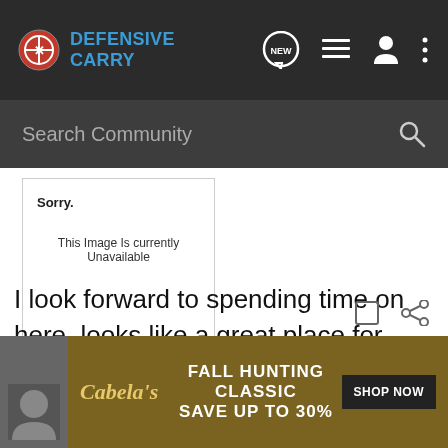Defensive Carry
Search Community
[Figure (screenshot): Photobucket placeholder image showing 'Sorry. This Image Is currently Unavailable' with photobucket logo at bottom]
I look forward to spending time on here, looks like a great place for info.
[Figure (infographic): Cabela's Fall Hunting Classic advertisement: Save up to 30% with Shop Now button]